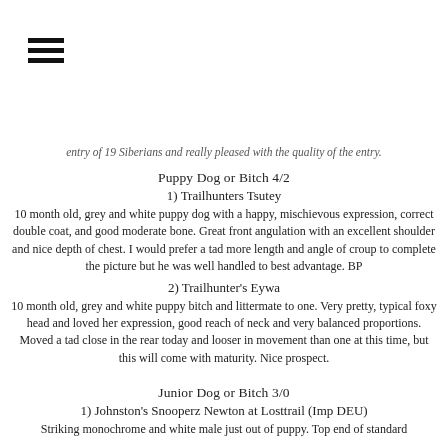[Figure (other): Hamburger menu icon (three horizontal bars)]
entry of 19 Siberians and really pleased with the quality of the entry.
Puppy Dog or Bitch 4/2
1) Trailhunters Tsutey
10 month old, grey and white puppy dog with a happy, mischievous expression, correct double coat, and good moderate bone. Great front angulation with an excellent shoulder and nice depth of chest. I would prefer a tad more length and angle of croup to complete the picture but he was well handled to best advantage. BP
2) Trailhunter's Eywa
10 month old, grey and white puppy bitch and littermate to one. Very pretty, typical foxy head and loved her expression, good reach of neck and very balanced proportions. Moved a tad close in the rear today and looser in movement than one at this time, but this will come with maturity. Nice prospect.
Junior Dog or Bitch 3/0
1) Johnston's Snooperz Newton at Losttrail (Imp DEU)
Striking monochrome and white male just out of puppy. Top end of standard